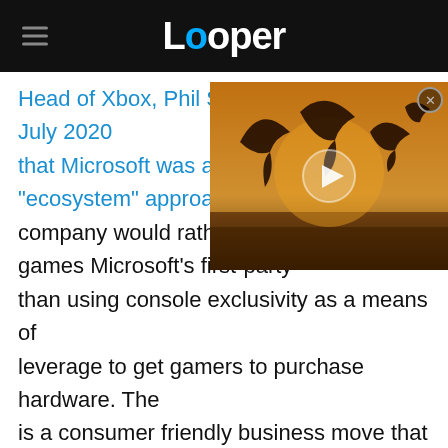Looper
Head of Xbox, Phil Spencer, confirmed in July 2020 that Microsoft was abandon an "ecosystem" approach. Sp company would rather see m games Microsoft's first-party than using console exclusivity as a means of leverage to get gamers to purchase hardware. The is a consumer friendly business move that gives gamers more options, as it frees Microsoft's games to appear on PC and the Nintendo Switch, as well as Xbox platforms.
[Figure (screenshot): Video thumbnail showing prehistoric flying creatures (pterosaurs) in a golden-lit scene with a play button overlay]
Xbox Series X|S launched with a